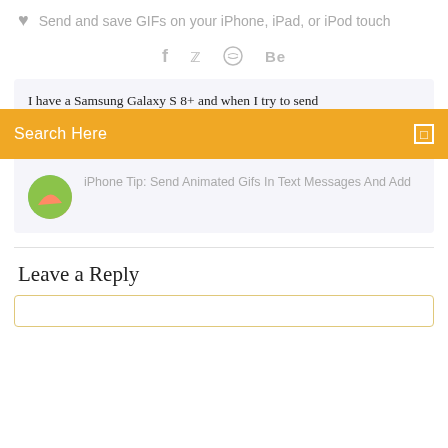Send and save GIFs on your iPhone, iPad, or iPod touch
[Figure (infographic): Social media icons: Facebook (f), Twitter (bird), Dribbble (circle with stitches), Behance (Be)]
I have a Samsung Galaxy S 8+ and when I try to send
Search Here
iPhone Tip: Send Animated Gifs In Text Messages And Add
Leave a Reply